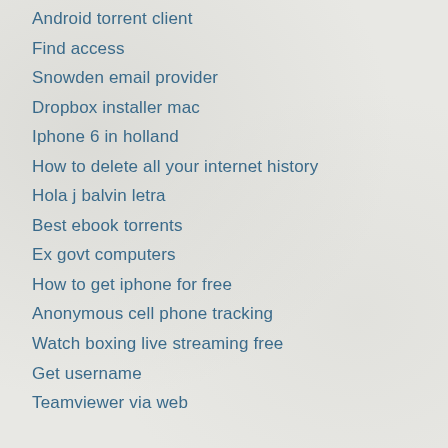Android torrent client
Find access
Snowden email provider
Dropbox installer mac
Iphone 6 in holland
How to delete all your internet history
Hola j balvin letra
Best ebook torrents
Ex govt computers
How to get iphone for free
Anonymous cell phone tracking
Watch boxing live streaming free
Get username
Teamviewer via web